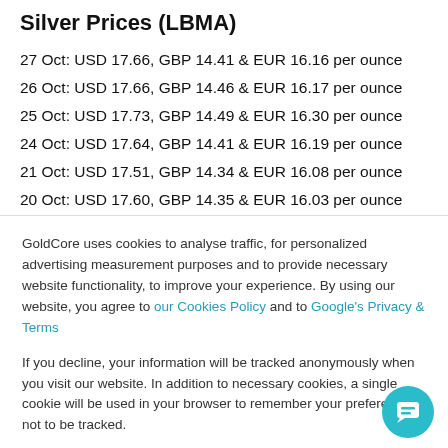Silver Prices (LBMA)
27 Oct: USD 17.66, GBP 14.41 & EUR 16.16 per ounce
26 Oct: USD 17.66, GBP 14.46 & EUR 16.17 per ounce
25 Oct: USD 17.73, GBP 14.49 & EUR 16.30 per ounce
24 Oct: USD 17.64, GBP 14.41 & EUR 16.19 per ounce
21 Oct: USD 17.51, GBP 14.34 & EUR 16.08 per ounce
20 Oct: USD 17.60, GBP 14.35 & EUR 16.03 per ounce
19 Oct: USD 17.69, GBP 14.38 & EUR 16.11 per ounce
GoldCore uses cookies to analyse traffic, for personalized advertising measurement purposes and to provide necessary website functionality, to improve your experience. By using our website, you agree to our Cookies Policy and to Google's Privacy & Terms
If you decline, your information will be tracked anonymously when you visit our website. In addition to necessary cookies, a single cookie will be used in your browser to remember your preference not to be tracked.